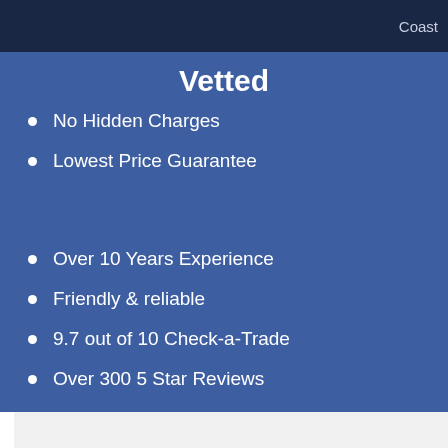Coast
Vetted
No Hidden Charges
Lowest Price Guarantee
Over 10 Years Experience
Friendly & reliable
9.7 out of 10 Check-a-Trade
Over 300 5 Star Reviews